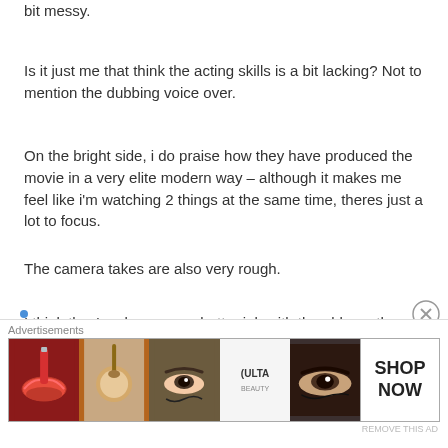bit messy.
Is it just me that think the acting skills is a bit lacking? Not to mention the dubbing voice over.
On the bright side, i do praise how they have produced the movie in a very elite modern way – although it makes me feel like i'm watching 2 things at the same time, theres just a lot to focus.
The camera takes are also very rough.
I think they've done a way better job with the old one than the current. However I do want to see how this plays out.
Advertisements
[Figure (other): ULTA beauty advertisement banner with makeup imagery and SHOP NOW call to action]